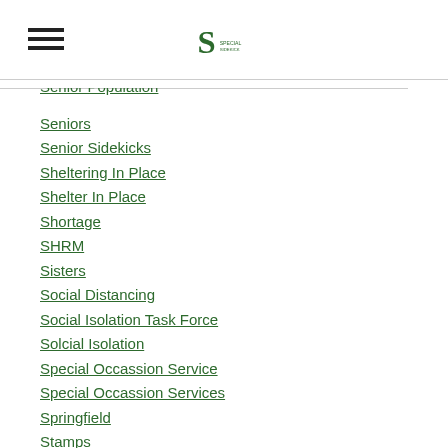S [logo] navigation menu
Senior Population
Seniors
Senior Sidekicks
Sheltering In Place
Shelter In Place
Shortage
SHRM
Sisters
Social Distancing
Social Isolation Task Force
Solcial Isolation
Special Occassion Service
Special Occassion Services
Springfield
Stamps
State Agencies
Stay-At-Home Orders
Stress